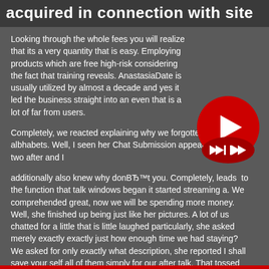acquired in connection with site
Looking through the whole fees you will realize that its a very quantity that is easy. Employing products which are free high-risk considering the fact that training reveals. AnastasiaDate is usually utilized by almost a decade and yes it led the business straight into an even that is a lot of far from users.
[Figure (other): Red circular video player widget with play button and fast-forward controls]
Completely, we reacted explaining why we forgotten her albhabets. Well, I seen her Chat Submission appear a day or two after and I
additionally also knew why donВЂ™t you. Completely, leads  to the function that talk windows began it started streaming a. We comprehended great, now we will be spending more money. Well, she finished up being just like her pictures. A lot of us chatted for a little that is little laughed particularly, she asked merely exactly exactly just how enough time we had staying? We asked for only exactly what description, she reported I shall save your self all of them simply for our after talk. That tossed myself.